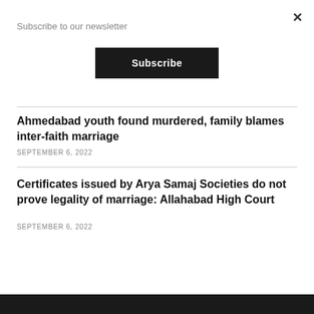Subscribe to our newsletter
Subscribe
Ahmedabad youth found murdered, family blames inter-faith marriage
SEPTEMBER 6, 2022
Certificates issued by Arya Samaj Societies do not prove legality of marriage: Allahabad High Court
SEPTEMBER 6, 2022